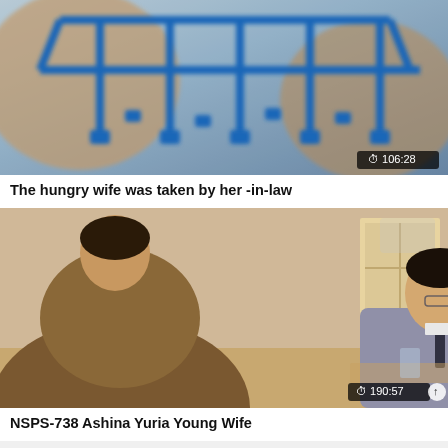[Figure (screenshot): Video thumbnail showing a close-up of hands holding a blue plastic laundry drying rack with clips, duration badge showing 106:28]
The hungry wife was taken by her -in-law
[Figure (screenshot): Video thumbnail showing two men in a room, one in a brown jacket viewed from behind, another in a gray suit leaning forward, duration badge showing 190:57]
NSPS-738 Ashina Yuria Young Wife